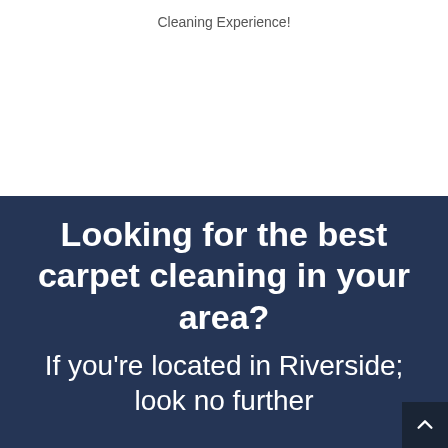Cleaning Experience!
Looking for the best carpet cleaning in your area?
If you're located in Riverside; look no further